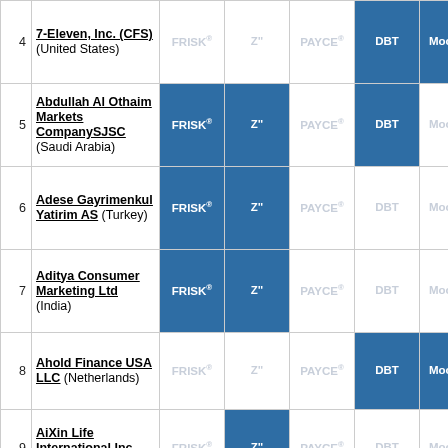| # | Company | FRISK® | Z" | PAYCE® | DBT | Moody's | Fitch |
| --- | --- | --- | --- | --- | --- | --- | --- |
| 4 | 7-Eleven, Inc. (CFS) (United States) | FRISK® | Z" | PAYCE® | DBT | Moody's | Fitch |
| 5 | Abdullah Al Othaim Markets CompanySJSC (Saudi Arabia) | FRISK® | Z" | PAYCE® | DBT | Moody's | Fitch |
| 6 | Adese Gayrimenkul Yatirim AS (Turkey) | FRISK® | Z" | PAYCE® | DBT | Moody's | Fitch |
| 7 | Aditya Consumer Marketing Ltd (India) | FRISK® | Z" | PAYCE® | DBT | Moody's | Fitch |
| 8 | Ahold Finance USA LLC (Netherlands) | FRISK® | Z" | PAYCE® | DBT | Moody's | Fitch |
| 9 | AiXin Life International Inc (China) | FRISK® | Z" | PAYCE® | DBT | Moody's | Fitch |
| 10 | Al Meera Consumer Goods | FRISK® | Z" | PAYCE® | DBT | Moody's | Fitch |